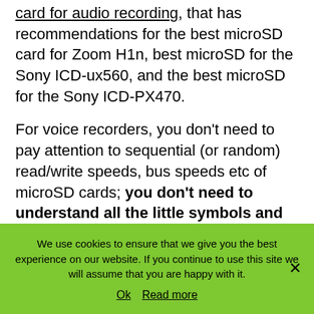card for audio recording, that has recommendations for the best microSD card for Zoom H1n, best microSD for the Sony ICD-ux560, and the best microSD for the Sony ICD-PX470.
For voice recorders, you don't need to pay attention to sequential (or random) read/write speeds, bus speeds etc of microSD cards; you don't need to understand all the little symbols and numbers on an SD card – you can ignore most of them. However, if you're looking for an SD card for your smart phone, digital camera etc.
We use cookies to ensure that we give you the best experience on our website. If you continue to use this site we will assume that you are happy with it.
Ok   Read more